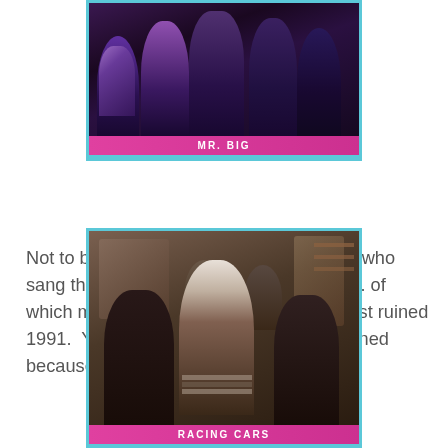[Figure (photo): Trading card style photo of the band Mr. Big, group of musicians, with a cyan border and pink/magenta label strip reading 'MR. BIG' at the bottom]
Not to be confused with the 80s hairband who sang the power ballad "To Be With You".... of which my hate knows no bounds.  It almost ruined 1991.  Yes, the entire year was almost ruined because of that shitty, shitty song.
[Figure (photo): Trading card style photo of the band Racing Cars, group of musicians posed in a room, with a cyan border and pink/magenta label strip reading 'RACING CARS' at the bottom]